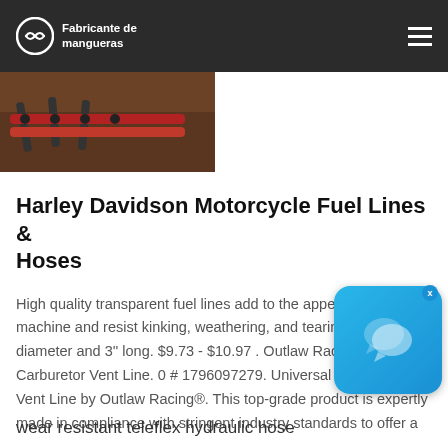Fabricante de mangueras
[Figure (photo): Image of red machinery/hoses on soil background]
Harley Davidson Motorcycle Fuel Lines & Hoses
High quality transparent fuel lines add to the appearance of your machine and resist kinking, weathering, and tearing 1/4" inner diameter and 3'' long. $9.73 - $10.97 . Outlaw Racing® Carburetor Vent Line. 0 # 1796097279. Universal Carburetor Vent Line by Outlaw Racing®. This top-grade product is expertly made in compliance with stringent industry standards to offer a ...
[Figure (screenshot): Chat/messaging app popup icon]
wear resistant teleflex hydraulic hose